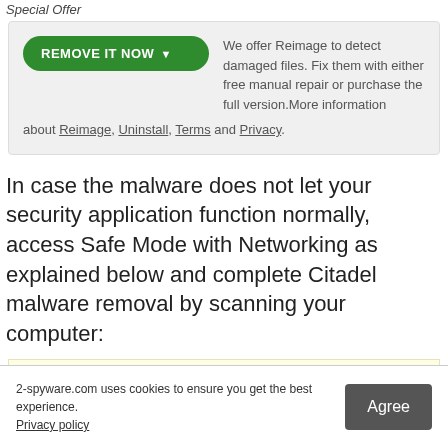Special Offer
We offer Reimage to detect damaged files. Fix them with either free manual repair or purchase the full version.More information about Reimage, Uninstall, Terms and Privacy.
In case the malware does not let your security application function normally, access Safe Mode with Networking as explained below and complete Citadel malware removal by scanning your computer:
Important! → Manual removal guide might be too complicated for regular computer users. It requires advanced IT knowledge to be ...oved or ...mise), and it ...e highly advise ...ead.
2-spyware.com uses cookies to ensure you get the best experience. Privacy policy   [Agree]